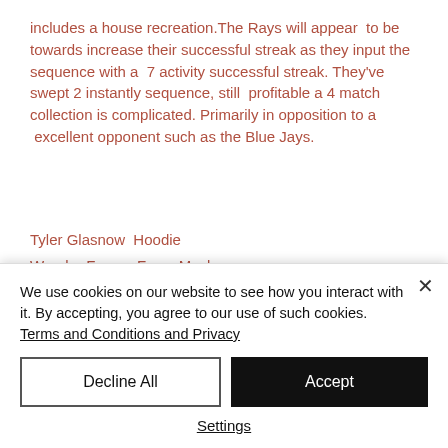includes a house recreation. The Rays will appear to be towards increase their successful streak as they input the sequence with a 7 activity successful streak. They've swept 2 instantly sequence, still profitable a 4 match collection is complicated. Primarily in opposition to a excellent opponent such as the Blue Jays.
Tyler Glasnow Hoodie
Wander Franco Face Mask
https://www.storetampa.com/Kevin_Kiermier_Pillow_Cover_217
We use cookies on our website to see how you interact with it. By accepting, you agree to our use of such cookies. Terms and Conditions and Privacy